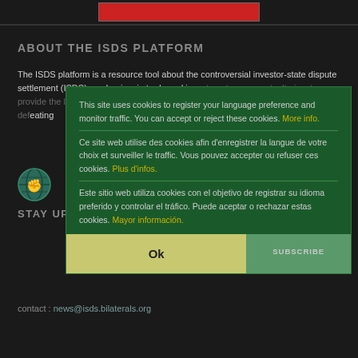[Figure (illustration): Red banner at top center against dark background]
ABOUT THE ISDS PLATFORM
The ISDS platform is a resource tool about the controversial investor-state dispute settlement (ISDS) mechanism in trade and investment agreements. It aims to provide the latest news, campaign tools and critical analysis to groups engaged in defeating
This site uses cookies to register your language preference and monitor traffic. You can accept or reject these cookies. More info.
Ce site web utilise des cookies afin d’enregistrer la langue de votre choix et surveiller le traffic. Vous pouvez accepter ou refuser ces cookies. Plus d’infos.
Este sitio web utiliza cookies con el objetivo de registrar su idioma preferido y controlar el tráfico. Puede aceptar o rechazar estas cookies. Mayor información.
STAY UP TO DATE
contact : news@isds.bilaterals.org